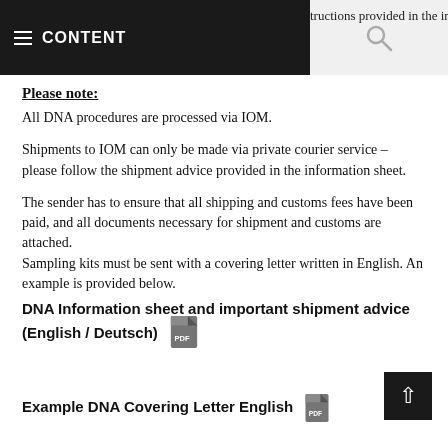≡ CONTENT
tructions provided in the information.
Please note:
All DNA procedures are processed via IOM.
Shipments to IOM can only be made via private courier service – please follow the shipment advice provided in the information sheet.
The sender has to ensure that all shipping and customs fees have been paid, and all documents necessary for shipment and customs are attached.
Sampling kits must be sent with a covering letter written in English. An example is provided below.
DNA Information sheet and important shipment advice (English / Deutsch)
Example DNA Covering Letter English